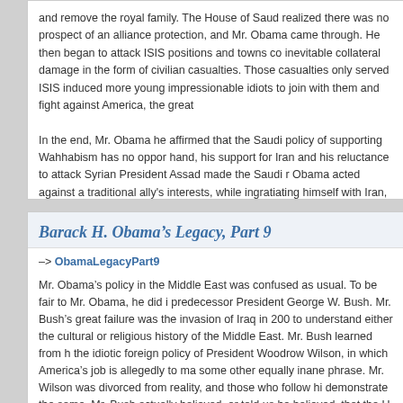and remove the royal family. The House of Saud realized there was no prospect of an alliance protection, and Mr. Obama came through. He then began to attack ISIS positions and towns co inevitable collateral damage in the form of civilian casualties. Those casualties only served ISIS induced more young impressionable idiots to join with them and fight against America, the great
In the end, Mr. Obama he affirmed that the Saudi policy of supporting Wahhabism has no oppor hand, his support for Iran and his reluctance to attack Syrian President Assad made the Saudi r Obama acted against a traditional ally's interests, while ingratiating himself with Iran, Saudi's gre into the moral and political cesspool known as the Middle East, reducing the U. S. to a position o unreliable enemy. Meanwhile, Wahhabism continues to be endorsed by the Saudi regime.
Tags: Obama, terrorism
Posted in terrorism, Uncategorized | No Comments »
Barack H. Obama's Legacy, Part 9
-> ObamaLegacyPart9
Mr. Obama's policy in the Middle East was confused as usual. To be fair to Mr. Obama, he did i predecessor President George W. Bush. Mr. Bush's great failure was the invasion of Iraq in 200 to understand either the cultural or religious history of the Middle East. Mr. Bush learned from h the idiotic foreign policy of President Woodrow Wilson, in which America's job is allegedly to ma some other equally inane phrase. Mr. Wilson was divorced from reality, and those who follow hi demonstrate the same. Mr. Bush actually believed, or told us he believed, that the U. S. military removed Iraqi dictator Saddam Hussein from power.
Here is how the Arab Middle East actually works. It is possible for an Arab who is not a Moslem normal society. It is possible for a Moslem who is not an Arab to live peacefully and function in a